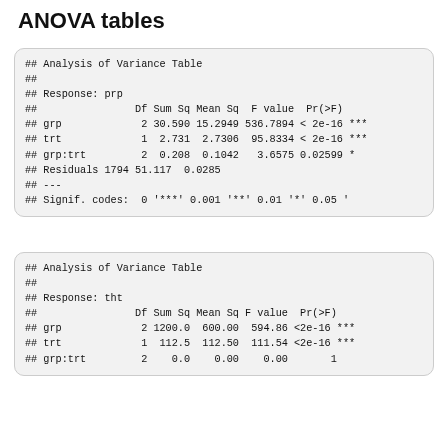ANOVA tables
## Analysis of Variance Table
##
## Response: prp
##                Df Sum Sq Mean Sq  F value  Pr(>F)    
## grp             2 30.590 15.2949 536.7894 < 2e-16 ***
## trt             1  2.731  2.7306  95.8334 < 2e-16 ***
## grp:trt         2  0.208  0.1042   3.6575 0.02599 *  
## Residuals 1794 51.117  0.0285                         
## ---
## Signif. codes:  0 '***' 0.001 '**' 0.01 '*' 0.05 '
## Analysis of Variance Table
##
## Response: tht
##                Df Sum Sq Mean Sq F value  Pr(>F)    
## grp             2 1200.0  600.00  594.86 <2e-16 ***
## trt             1  112.5  112.50  111.54 <2e-16 ***
## grp:trt         2    0.0    0.00    0.00      1